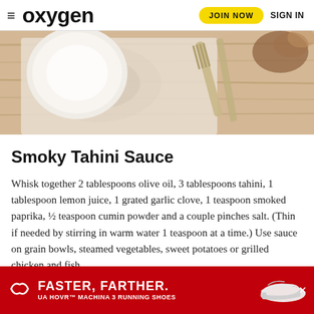oxygen  JOIN NOW  SIGN IN
[Figure (photo): Overhead photo of a dinner plate with fork and knife on a decorative placemat on a wooden table, food visible at top right]
Smoky Tahini Sauce
Whisk together 2 tablespoons olive oil, 3 tablespoons tahini, 1 tablespoon lemon juice, 1 grated garlic clove, 1 teaspoon smoked paprika, ½ teaspoon cumin powder and a couple pinches salt. (Thin if needed by stirring in warm water 1 teaspoon at a time.) Use sauce on grain bowls, steamed vegetables, sweet potatoes or grilled chicken and fish.
[Figure (advertisement): Under Armour ad banner with red background showing FASTER, FARTHER. UA HOVR MACHINA 3 RUNNING SHOES text and a shoe image]